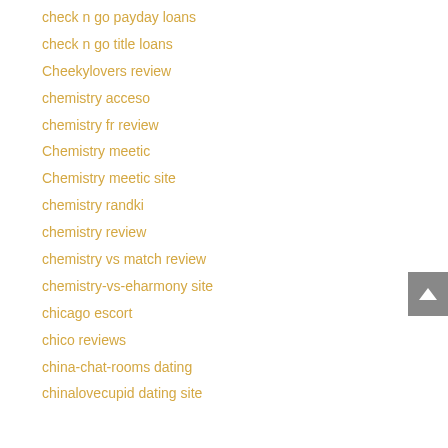check n go payday loans
check n go title loans
Cheekylovers review
chemistry acceso
chemistry fr review
Chemistry meetic
Chemistry meetic site
chemistry randki
chemistry review
chemistry vs match review
chemistry-vs-eharmony site
chicago escort
chico reviews
china-chat-rooms dating
chinalovecupid dating site